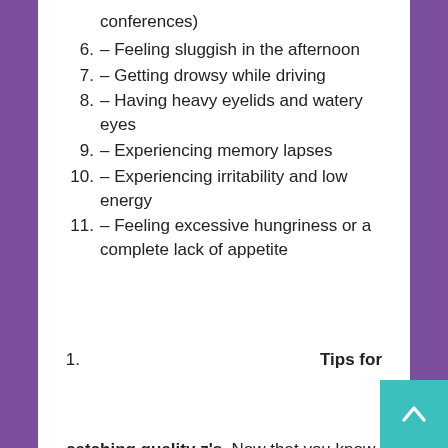conferences)
6. – Feeling sluggish in the afternoon
7. – Getting drowsy while driving
8. – Having heavy eyelids and watery eyes
9. – Experiencing memory lapses
10. – Experiencing irritability and low energy
11. – Feeling excessive hungriness or a complete lack of appetite
1.    Tips for
catching quality z's. Now that you know how important sleep is, don't let